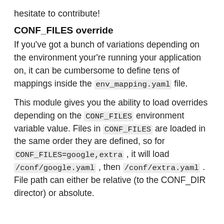hesitate to contribute!
CONF_FILES override
If you've got a bunch of variations depending on the environment your're running your application on, it can be cumbersome to define tens of mappings inside the env_mapping.yaml file.
This module gives you the ability to load overrides depending on the CONF_FILES environment variable value. Files in CONF_FILES are loaded in the same order they are defined, so for CONF_FILES=google,extra , it will load /conf/google.yaml , then /conf/extra.yaml . File path can either be relative (to the CONF_DIR director) or absolute.